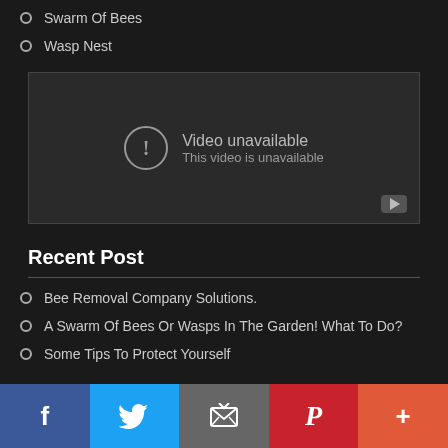Swarm Of Bees
Wasp Nest
[Figure (screenshot): Embedded video player showing 'Video unavailable - This video is unavailable' message with a YouTube play button icon in the bottom right corner.]
Recent Post
Bee Removal Company Solutions.
A Swarm Of Bees Or Wasps In The Garden! What To Do?
Some Tips To Protect Yourself
[Figure (infographic): Social share bar with Facebook, Twitter, Email, Pinterest, and More buttons.]